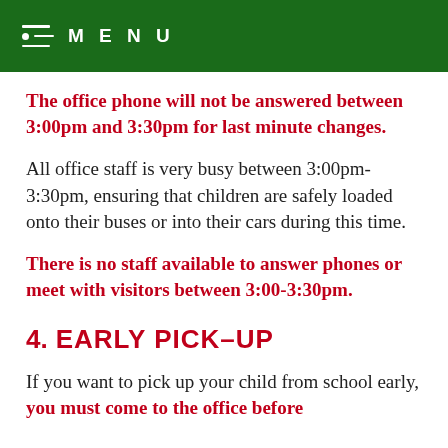MENU
The office phone will not be answered between 3:00pm and 3:30pm for last minute changes.
All office staff is very busy between 3:00pm-3:30pm, ensuring that children are safely loaded onto their buses or into their cars during this time.
There is no staff available to answer phones or meet with visitors between 3:00-3:30pm.
4.  EARLY PICK–UP
If you want to pick up your child from school early, you must come to the office before